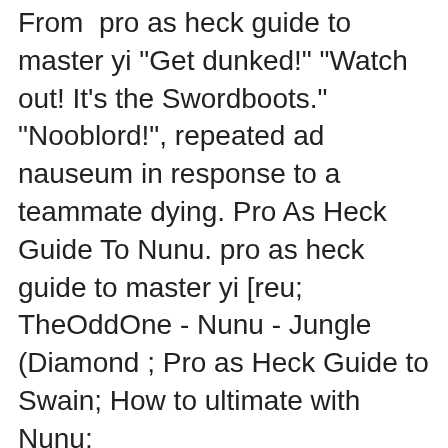From  pro as heck guide to master yi "Get dunked!" "Watch out! It's the Swordboots." "Nooblord!", repeated ad nauseum in response to a teammate dying. Pro As Heck Guide To Nunu. pro as heck guide to master yi [reu; TheOddOne - Nunu - Jungle (Diamond ; Pro as Heck Guide to Swain; How to ultimate with Nunu;
Wuju Lives On -- The Pro As Heck Guide to the New Master Yi *Matchups added on pg2* - last post by @ Sep 10, 2013 Master Yi's Visual Update - вЂ¦ Free Download Master Yi OP Guide Gillette Rasur Feat Faker MP3, Size: 25.25 MB, Duration: 19 minutes and 11 seconds, Bitrate: 192 Kbps.